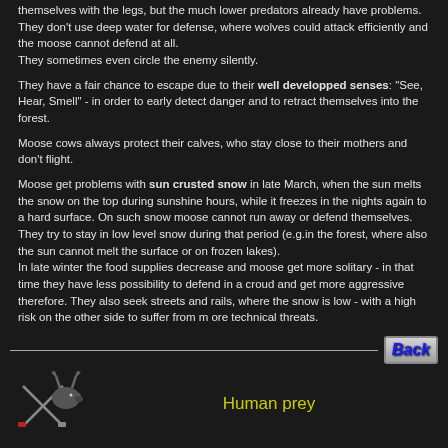themselves with the legs, but the much lower predators already have problems. They don't use deep water for defense, where wolves could attack efficiently and the moose cannot defend at all.
They sometimes even circle the enemy silently.
They have a fair chance to escape due to their well developped senses: "See, Hear, Smell" - in order to early detect danger and to retract themselves into the forest.
Moose cows always protect their calves, who stay close to their mothers and don't flight.
Moose get problems with sun crusted snow in late March, when the sun melts the snow on the top during sunshine hours, while it freezes in the nights again to a hard surface. On such snow moose cannot run away or defend themselves. They try to stay in low level snow during that period (e.g.in the forest, where also the sun cannot melt the surface or on frozen lakes).
In late winter the food supplies decrease and moose get more solitary - in that time they have less possibility to defend in a croud and get more aggressive therefore. They also seek streets and rails, where the snow is low - with a high risk on the other side to suffer from m ore technical threats.
[Figure (illustration): A horizontal divider line with a Back button (styled with blue italic bold text on a metallic background) on the right side]
[Figure (illustration): Moose icon with crossed swords/utensils on the left side]
Human prey
Of course - as in so many cases - the main threat for moose is the human being. Therefore this topic has an own section - please check "Moose & Human"